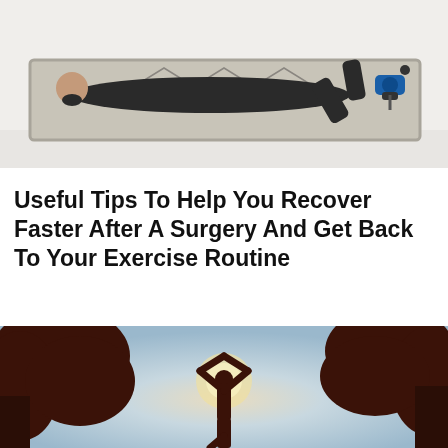[Figure (photo): Person lying prone on a patterned rug/mat using a massage gun device for muscle recovery, photographed on a light background]
Useful Tips To Help You Recover Faster After A Surgery And Get Back To Your Exercise Routine
[Figure (photo): Silhouette of a person in a yoga tree pose with arms raised overhead against a glowing sky, framed by dark tree branches on both sides]